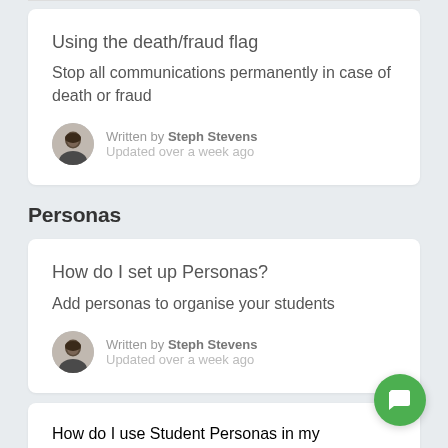Using the death/fraud flag
Stop all communications permanently in case of death or fraud
Written by Steph Stevens
Updated over a week ago
Personas
How do I set up Personas?
Add personas to organise your students
Written by Steph Stevens
Updated over a week ago
How do I use Student Personas in my